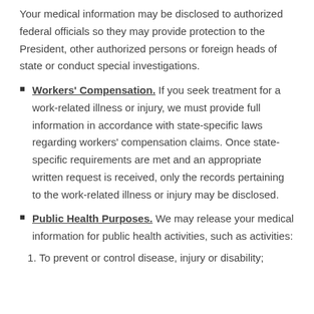Your medical information may be disclosed to authorized federal officials so they may provide protection to the President, other authorized persons or foreign heads of state or conduct special investigations.
Workers' Compensation. If you seek treatment for a work-related illness or injury, we must provide full information in accordance with state-specific laws regarding workers' compensation claims. Once state-specific requirements are met and an appropriate written request is received, only the records pertaining to the work-related illness or injury may be disclosed.
Public Health Purposes. We may release your medical information for public health activities, such as activities:
1. To prevent or control disease, injury or disability;